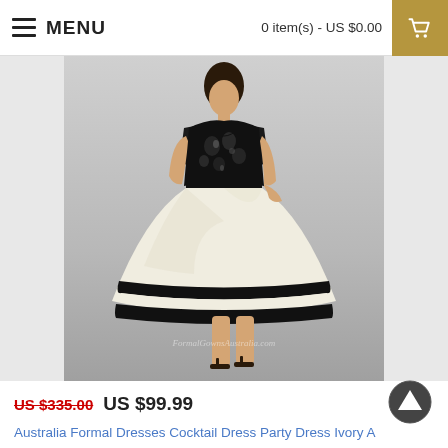MENU   0 item(s) - US $0.00
[Figure (photo): A model wearing an ivory cocktail dress with black lace bodice and black stripe trim at the hem, short A-line skirt. Watermark reads 'FormalGownsAustralia.com']
US $335.00  US $99.99
Australia Formal Dresses Cocktail Dress Party Dress Ivory A